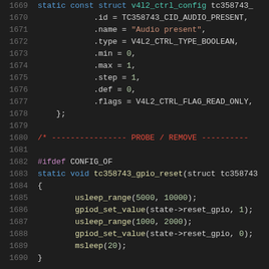[Figure (screenshot): Source code listing in a dark-themed code editor showing C code for tc358743 Linux kernel driver, lines 1669-1690, featuring struct field assignments, a PROBE/REMOVE section comment, #ifdef CONFIG_OF, and tc358743_gpio_reset function definition.]